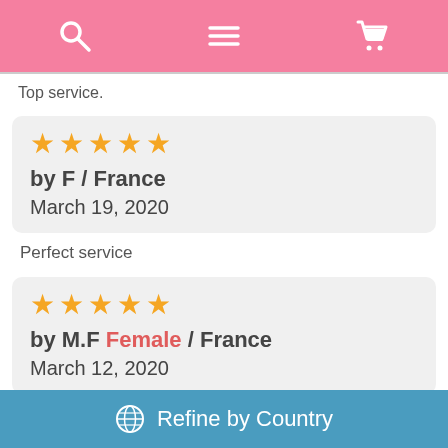Navigation bar with search, menu, and cart icons
Top service.
★★★★★ by F / France March 19, 2020
Perfect service
★★★★★ by M.F Female / France March 12, 2020
Everything was perfect service, the best...
Refine by Country